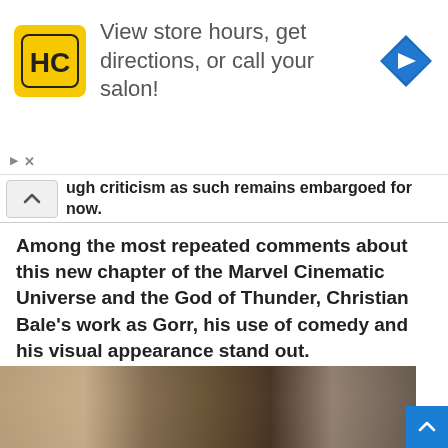[Figure (infographic): Advertisement banner for a salon/hair care brand with a yellow logo marked HC, navigation icon (blue diamond with right arrow). Text reads: View store hours, get directions, or call your salon!]
ugh criticism as such remains embargoed for now.
Among the most repeated comments about this new chapter of the Marvel Cinematic Universe and the God of Thunder, Christian Bale's work as Gorr, his use of comedy and his visual appearance stand out.
[Figure (photo): Movie still from Thor: Love and Thunder showing a blonde woman in Thor armour (Natalie Portman as Jane Foster/Mighty Thor) in the foreground with a man in Thor costume (Chris Hemsworth) in the background.]